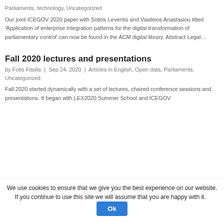Parliaments, technology, Uncategorized
Our joint ICEGOV 2020 paper with Sotiris Leventis and Vasileios Anastasiou titled 'Application of enterprise integration patterns for the digital transformation of parliamentary control' can now be found in the ACM digital library. Abstract Legal…
Fall 2020 lectures and presentations
by Fotis Fitsilis | Sep 24, 2020 | Articles in English, Open data, Parliaments, Uncategorized
Fall 2020 started dynamically with a set of lectures, chaired conference sessions and presentations. It began with LEX2020 Summer School and ICEGOV
We use cookies to ensure that we give you the best experience on our website. If you continue to use this site we will assume that you are happy with it.